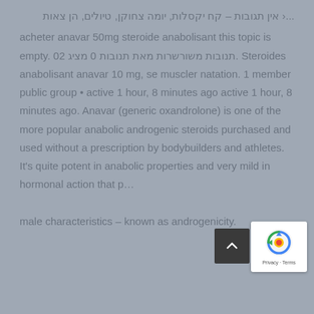...‹ אין תגובות – קח יקסלות, יומה צחוקן, טיולים, הן צאות acheter anavar 50mg steroide anabolisant this topic is empty. 02 תנובות משורשרות מאת תנובות 0 מציג. Steroides anabolisant anavar 10 mg, se muscler natation. 1 member public group • active 1 hour, 8 minutes ago active 1 hour, 8 minutes ago. Anavar (generic oxandrolone) is one of the more popular anabolic androgenic steroids purchased and used without a prescription by bodybuilders and athletes. It's quite potent in anabolic properties and very mild in hormonal action that p… male characteristics – known as androgenicity.